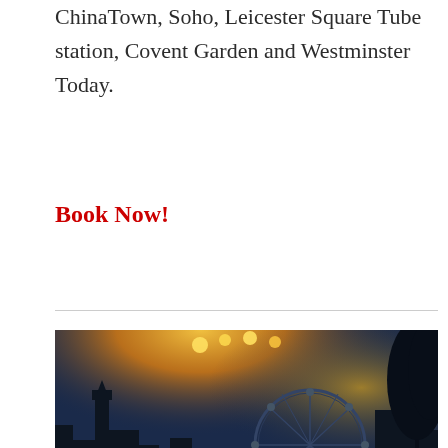ChinaTown, Soho, Leicester Square Tube station, Covent Garden and Westminster Today.
Book Now!
[Figure (photo): Night-time composite photo of London landmarks including the London Eye and illuminated buildings with warm yellow glow, against a dark blue sky with tree silhouettes in the foreground.]
SW1 Rooms